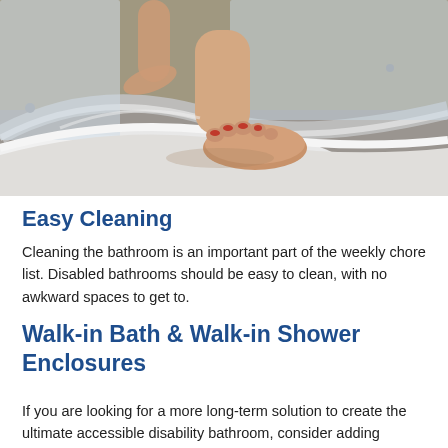[Figure (photo): Close-up photo of a person's bare feet stepping into or out of a curved shower enclosure with chrome trim, on a grey tiled floor.]
Easy Cleaning
Cleaning the bathroom is an important part of the weekly chore list. Disabled bathrooms should be easy to clean, with no awkward spaces to get to.
Walk-in Bath & Walk-in Shower Enclosures
If you are looking for a more long-term solution to create the ultimate accessible disability bathroom, consider adding